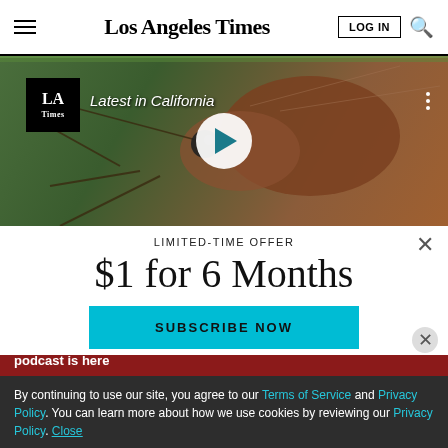Los Angeles Times
[Figure (screenshot): Video thumbnail showing mosquito close-up with LA Times badge and 'Latest in California' label, with a play button overlay]
LIMITED-TIME OFFER
$1 for 6 Months
SUBSCRIBE NOW
By continuing to use our site, you agree to our Terms of Service and Privacy Policy. You can learn more about how we use cookies by reviewing our Privacy Policy. Close
Season 5 of The Times' go-to podcast is here